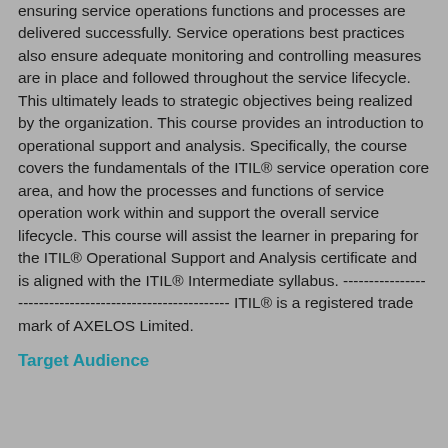ensuring service operations functions and processes are delivered successfully. Service operations best practices also ensure adequate monitoring and controlling measures are in place and followed throughout the service lifecycle. This ultimately leads to strategic objectives being realized by the organization. This course provides an introduction to operational support and analysis. Specifically, the course covers the fundamentals of the ITIL® service operation core area, and how the processes and functions of service operation work within and support the overall service lifecycle. This course will assist the learner in preparing for the ITIL® Operational Support and Analysis certificate and is aligned with the ITIL® Intermediate syllabus. --------------------------------------------------------- ITIL® is a registered trade mark of AXELOS Limited.
Target Audience